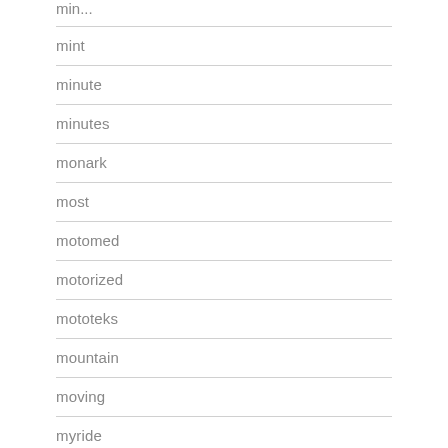mint
minute
minutes
monark
most
motomed
motorized
mototeks
mountain
moving
myride